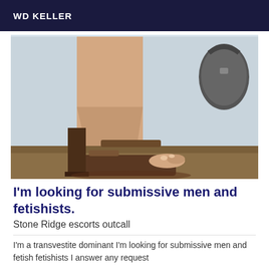WD KELLER
[Figure (photo): Close-up photo of a foot wearing a very high platform stiletto heel shoe, standing on a wooden floor. A dark handbag is visible in the upper right background against a light grey wall.]
I'm looking for submissive men and fetishists.
Stone Ridge escorts outcall
I'm a transvestite dominant I'm looking for submissive men and fetish fetishists I answer any request